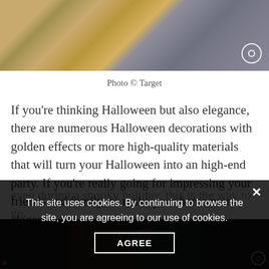[Figure (photo): Partial photo of a golden decorative object (wand or scepter) on a grey fabric background, with a circular radio button icon overlay in the bottom right corner.]
Photo © Target
If you're thinking Halloween but also elegance, there are numerous Halloween decorations with golden effects or more high-quality materials that will turn your Halloween into an high-end party. If you're really going for impressing your friends and family, or make your home more elegant even during a spooky holiday, this is the way to go.
This site uses cookies. By continuing to browse the site, you are agreeing to our use of cookies.
AGREE